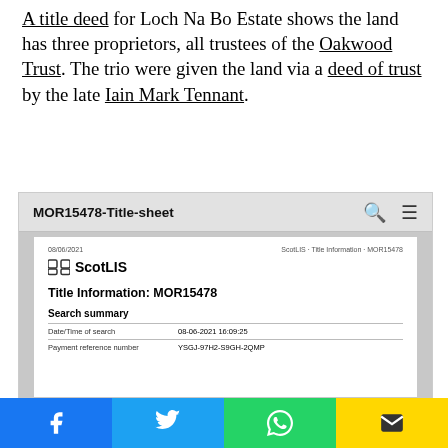A title deed for Loch Na Bo Estate shows the land has three proprietors, all trustees of the Oakwood Trust. The trio were given the land via a deed of trust by the late Iain Mark Tennant.
[Figure (screenshot): Screenshot of ScotLIS Title Information page MOR15478, showing browser tab labelled 'MOR15478-Title-sheet' with search/menu icons, dated 08/06/2021. Document shows ScotLIS logo, Title Information: MOR15478, Search summary with Date/Time of search: 08-06-2021 16:09:25 and Payment reference number: YSGJ-97H2-S9GH-2QMP]
[Figure (infographic): Social media share bar with four buttons: Facebook (blue), Twitter (cyan), WhatsApp (green), Email (yellow)]